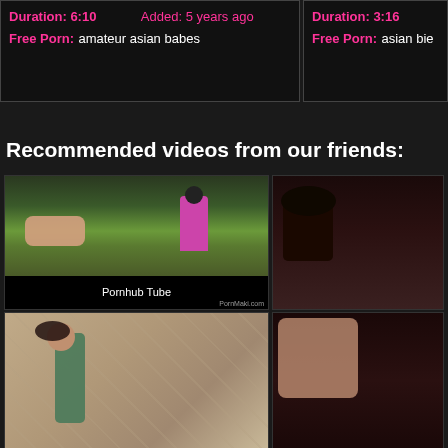Duration: 6:10   Added: 5 years ago
Free Porn: amateur asian babes
Duration: 3:16
Free Porn: asian bi...
Recommended videos from our friends:
[Figure (photo): Video thumbnail showing outdoor scene, labeled Pornhub Tube]
[Figure (photo): Partially visible video thumbnail on right side]
[Figure (photo): Video thumbnail showing indoor bathroom scene]
[Figure (photo): Partially visible video thumbnail on right side]